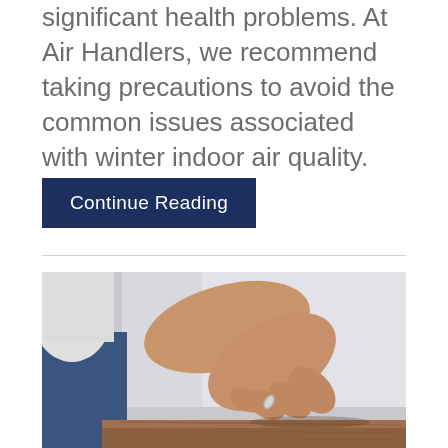significant health problems. At Air Handlers, we recommend taking precautions to avoid the common issues associated with winter indoor air quality.
Continue Reading
[Figure (photo): A person wearing a white shirt and jeans, with their hand extended downward, finger pointing toward or touching a wooden surface. The background is light gray.]